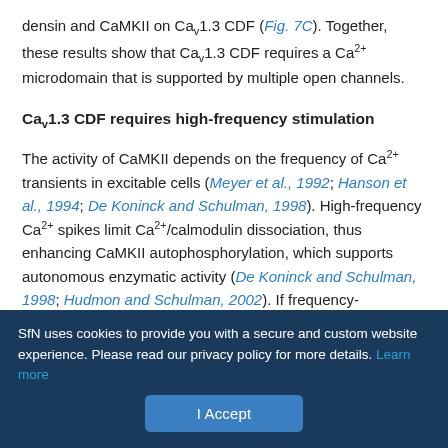densin and CaMKII on CaV1.3 CDF (Fig. 7C). Together, these results show that CaV1.3 CDF requires a Ca2+ microdomain that is supported by multiple open channels.
CaV1.3 CDF requires high-frequency stimulation
The activity of CaMKII depends on the frequency of Ca2+ transients in excitable cells (Meyer et al., 1992; Hanson et al., 1994; De Koninck and Schulman, 1998). High-frequency Ca2+ spikes limit Ca2+/calmodulin dissociation, thus enhancing CaMKII autophosphorylation, which supports autonomous enzymatic activity (De Koninck and Schulman, 1998; Hudmon and Schulman, 2002). If frequency-dependent modulation of CaMKII contributes to CaV1.3 CDF, the effects of densin and CaMKII should be reduced
SfN uses cookies to provide you with a secure and custom website experience. Please read our privacy policy for more details. Learn more